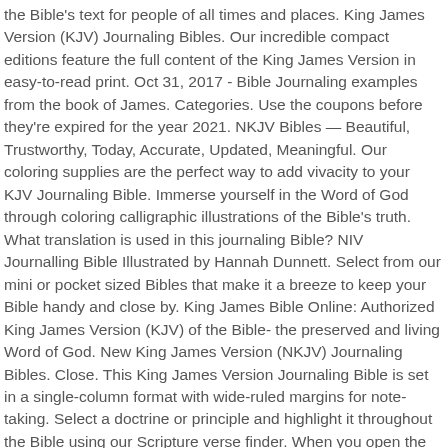the Bible's text for people of all times and places. King James Version (KJV) Journaling Bibles. Our incredible compact editions feature the full content of the King James Version in easy-to-read print. Oct 31, 2017 - Bible Journaling examples from the book of James. Categories. Use the coupons before they're expired for the year 2021. NKJV Bibles — Beautiful, Trustworthy, Today, Accurate, Updated, Meaningful. Our coloring supplies are the perfect way to add vivacity to your KJV Journaling Bible. Immerse yourself in the Word of God through coloring calligraphic illustrations of the Bible's truth. What translation is used in this journaling Bible? NIV Journalling Bible Illustrated by Hannah Dunnett. Select from our mini or pocket sized Bibles that make it a breeze to keep your Bible handy and close by. King James Bible Online: Authorized King James Version (KJV) of the Bible- the preserved and living Word of God. New King James Version (NKJV) Journaling Bibles. Close. This King James Version Journaling Bible is set in a single-column format with wide-ruled margins for note-taking. Select a doctrine or principle and highlight it throughout the Bible using our Scripture verse finder. When you open the cover on this Bible you'll see that the end pages are decorated. Price New from Used from Bonded Leather, September 1, 2015 "Please retry" $61.51 . For more information on the